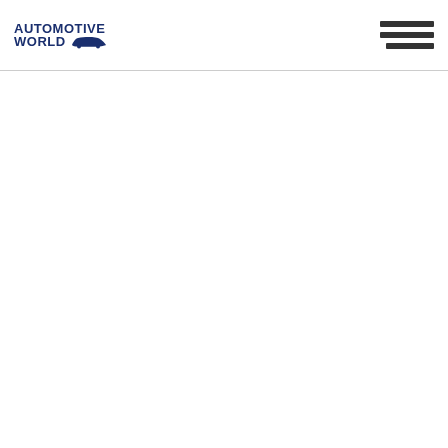[Figure (logo): Automotive World logo with car silhouette icon and hamburger menu icon in top right corner]